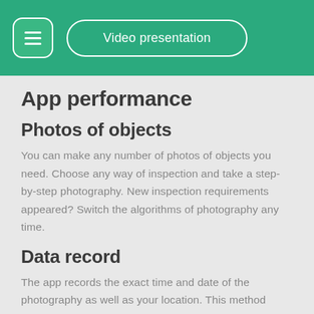Video presentation
App performance
Photos of objects
You can make any number of photos of objects you need. Choose any way of inspection and take a step-by-step photography. New inspection requirements appeared? Switch the algorithms of photography any time.
Data record
The app records the exact time and date of the photography as well as your location. This method guarantees authenticity of inspection and protects securely from fraud.
Generating your own algorithms of inspection